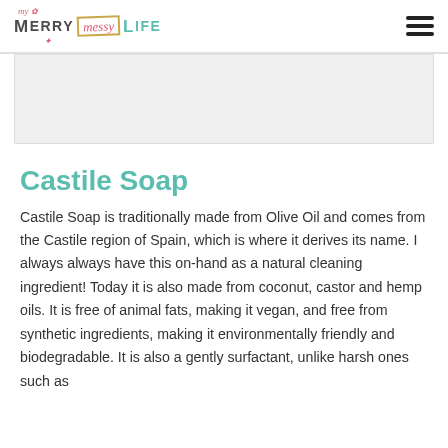my Merry messy Life
[Figure (other): Advertisement placeholder banner, light gray background]
Castile Soap
Castile Soap is traditionally made from Olive Oil and comes from the Castile region of Spain, which is where it derives its name. I always always have this on-hand as a natural cleaning ingredient! Today it is also made from coconut, castor and hemp oils. It is free of animal fats, making it vegan, and free from synthetic ingredients, making it environmentally friendly and biodegradable. It is also a gently surfactant, unlike harsh ones such as